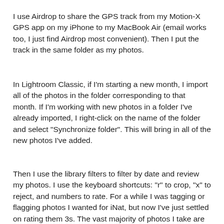I use Airdrop to share the GPS track from my Motion-X GPS app on my iPhone to my MacBook Air (email works too, I just find Airdrop most convenient). Then I put the track in the same folder as my photos.
In Lightroom Classic, if I'm starting a new month, I import all of the photos in the folder corresponding to that month. If I'm working with new photos in a folder I've already imported, I right-click on the name of the folder and select "Synchronize folder". This will bring in all of the new photos I've added.
Then I use the library filters to filter by date and review my photos. I use the keyboard shortcuts: "r" to crop, "x" to reject, and numbers to rate. For a while I was tagging or flagging photos I wanted for iNat, but now I've just settled on rating them 3s. The vast majority of photos I take are only for iNat. If I take some others I want to keep, I often rate them 4 or 5. I'm trying to be more ruthless in rejecting photos and then "Deleting